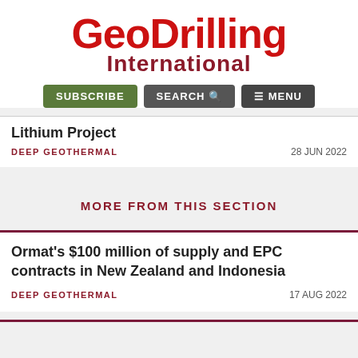[Figure (logo): GeoDrilling International logo in red and dark red text]
SUBSCRIBE  SEARCH  MENU
Lithium Project
DEEP GEOTHERMAL   28 JUN 2022
MORE FROM THIS SECTION
Ormat's $100 million of supply and EPC contracts in New Zealand and Indonesia
DEEP GEOTHERMAL   17 AUG 2022